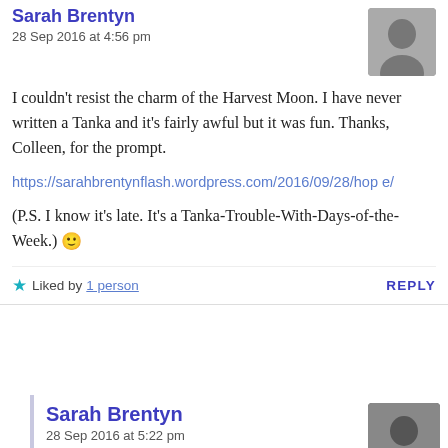Sarah Brentyn
28 Sep 2016 at 4:56 pm
I couldn't resist the charm of the Harvest Moon. I have never written a Tanka and it's fairly awful but it was fun. Thanks, Colleen, for the prompt.
https://sarahbrentynflash.wordpress.com/2016/09/28/hope/
(P.S. I know it's late. It's a Tanka-Trouble-With-Days-of-the-Week.) 🙂
★ Liked by 1 person   REPLY
Sarah Brentyn
28 Sep 2016 at 5:22 pm
Um. Yeah, so I was thinking of your intro "Tanka Tuesday" post from last week and so I guess this isn't late. It's kind